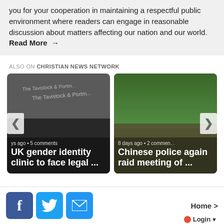you for your cooperation in maintaining a respectful public environment where readers can engage in reasonable discussion about matters affecting our nation and our world. Read More →
ALSO ON CHRISTIAN NEWS NETWORK
[Figure (screenshot): Card with image of Tavistock Centre sign, meta '...ys ago • 5 comments', title 'UK gender identity clinic to face legal ...']
[Figure (screenshot): Card with image of Chinese outdoor scene with people, meta '8 days ago • 2 commen...', title 'Chinese police again raid meeting of ...']
[Figure (infographic): Footer bar with Facebook, Twitter, email social buttons and 'Home >' link and Login button]